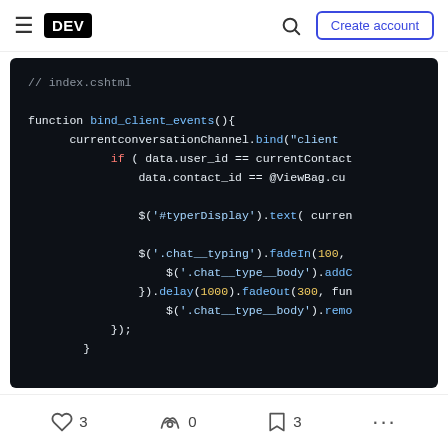DEV — Create account
[Figure (screenshot): Code block showing JavaScript function bind_client_events with jQuery calls for chat typing indicator]
3 likes, 0 unicorns, 3 bookmarks